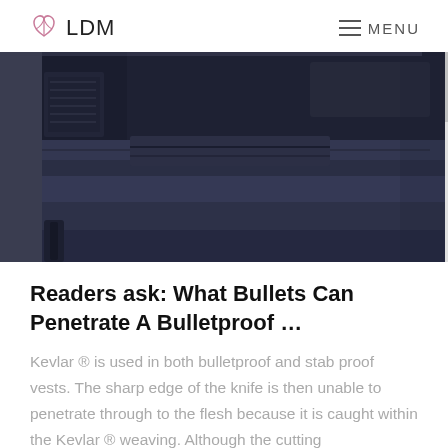LDM   MENU
[Figure (photo): Close-up photo of a dark navy/black bulletproof vest or tactical bag showing layered panels, zippers, velcro straps, and ballistic material construction.]
Readers ask: What Bullets Can Penetrate A Bulletproof …
Kevlar ® is used in both bulletproof and stab proof vests. The sharp edge of the knife is then unable to penetrate through to the flesh because it is caught within the Kevlar ® weaving. Although the cutting